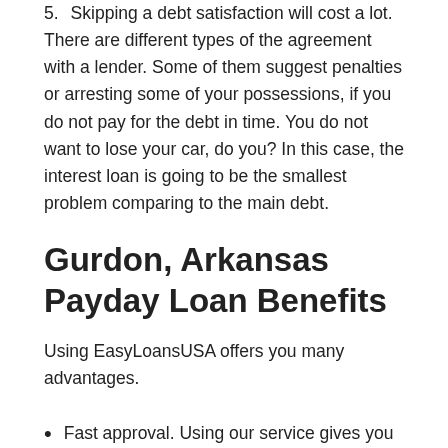5.    Skipping a debt satisfaction will cost a lot. There are different types of the agreement with a lender. Some of them suggest penalties or arresting some of your possessions, if you do not pay for the debt in time. You do not want to lose your car, do you? In this case, the interest loan is going to be the smallest problem comparing to the main debt.
Gurdon, Arkansas Payday Loan Benefits
Using EasyLoansUSA offers you many advantages.
Fast approval. Using our service gives you a guarantee to deposit your money to bank account within one business day. It does not matter where you live. We quickly process all your data and bank